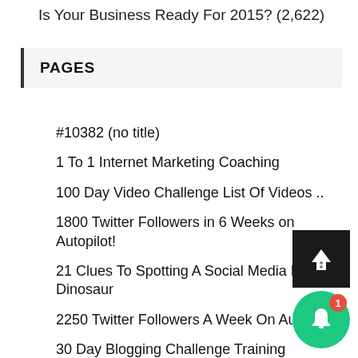Is Your Business Ready For 2015? (2,622)
PAGES
#10382 (no title)
1 To 1 Internet Marketing Coaching
100 Day Video Challenge List Of Videos ..
1800 Twitter Followers in 6 Weeks on Autopilot!
21 Clues To Spotting A Social Media MLM Dinosaur
2250 Twitter Followers A Week On Autopil…
30 Day Blogging Challenge Training